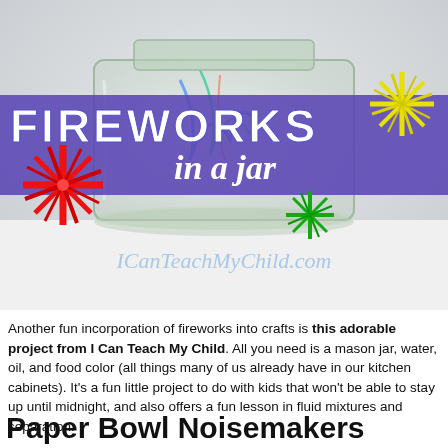[Figure (photo): Photo of a glass mason jar with colorful ink/dye swirls inside, on a white surface. The jar has a blue/purple banner overlay with 'FIREWORKS in a jar' text and decorative star bursts in red, yellow, and green. Watermark reads 'ICanTeachMyChild.com']
Another fun incorporation of fireworks into crafts is this adorable project from I Can Teach My Child. All you need is a mason jar, water, oil, and food color (all things many of us already have in our kitchen cabinets). It’s a fun little project to do with kids that won’t be able to stay up until midnight, and also offers a fun lesson in fluid mixtures and separation.
Paper Bowl Noisemakers